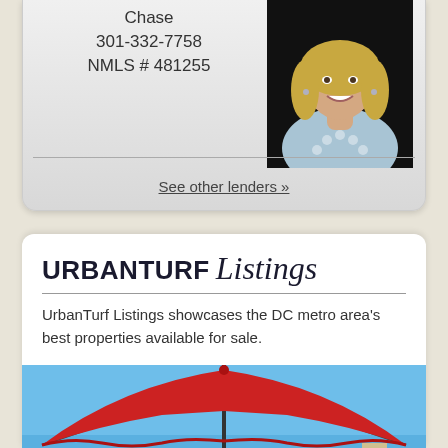Chase
301-332-7758
NMLS # 481255
[Figure (photo): Professional headshot of a smiling blonde woman wearing a patterned sleeveless top]
See other lenders »
UrbanTurf Listings
UrbanTurf Listings showcases the DC metro area's best properties available for sale.
[Figure (photo): Outdoor photo showing a large red patio umbrella against a blue sky with greenery and buildings in the background]